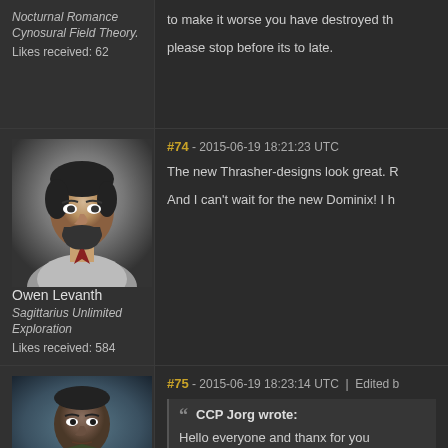Nocturnal Romance Cynosural Field Theory.
Likes received: 62
to make it worse you have destroyed th
please stop before its to late.
#74 - 2015-06-19 18:21:23 UTC
[Figure (illustration): Forum avatar portrait of Owen Levanth - a man with dark hair and beard in stylized game art style]
Owen Levanth
Sagittarius Unlimited Exploration
Likes received: 584
The new Thrasher-designs look great. R
And I can't wait for the new Dominix! I h
#75 - 2015-06-19 18:23:14 UTC  |  Edited b
[Figure (illustration): Forum avatar portrait of a dark-skinned man in military uniform in stylized game art style]
CCP Jorg wrote:
Hello everyone and thanx for you
We knew the Thrasher would be c